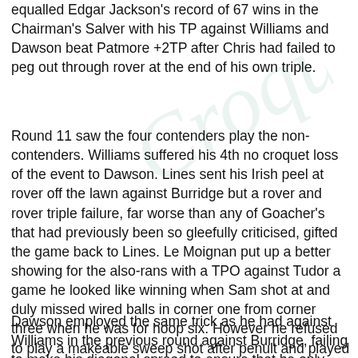equalled Edgar Jackson's record of 67 wins in the Chairman's Salver with his TP against Williams and Dawson beat Patmore +2TP after Chris had failed to peg out through rover at the end of his own triple.
Round 11 saw the four contenders play the non-contenders. Williams suffered his 4th no croquet loss of the event to Dawson. Lines sent his Irish peel at rover off the lawn against Burridge but a rover and rover triple failure, far worse than any of Goacher's that had previously been so gleefully criticised, gifted the game back to Lines. Le Moignan put up a better showing for the also-rans with a TPO against Tudor a game he looked like winning when Sam shot at and duly missed wired balls in corner one from corner three when he was for hoop six. However he refused to play a makeable sweep shot after penult and played away, Tudor hit the resulting 13 yarder and finished from hoop 2. It was Patmore who finally disposed of one of the contenders with a TP after Goacher had missed a three yarder to follow on from his missed five yarder that had conceded the first break.
Dawson employed the same trick as he had against Williams in the previous round against Burridge, failing to make his diagonal spread to ensure that he only had a standard TP to play giving 30tp. Tudor beat Goacher 30tp despite it ticking...